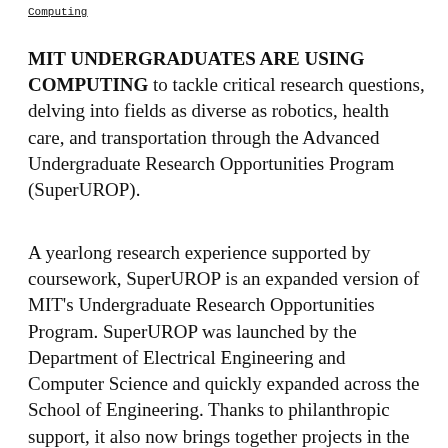Computing
MIT UNDERGRADUATES ARE USING COMPUTING to tackle critical research questions, delving into fields as diverse as robotics, health care, and transportation through the Advanced Undergraduate Research Opportunities Program (SuperUROP).
A yearlong research experience supported by coursework, SuperUROP is an expanded version of MIT's Undergraduate Research Opportunities Program. SuperUROP was launched by the Department of Electrical Engineering and Computer Science and quickly expanded across the School of Engineering. Thanks to philanthropic support, it also now brings together projects in the School of Humanities, Arts, and Social Sciences with computer science.